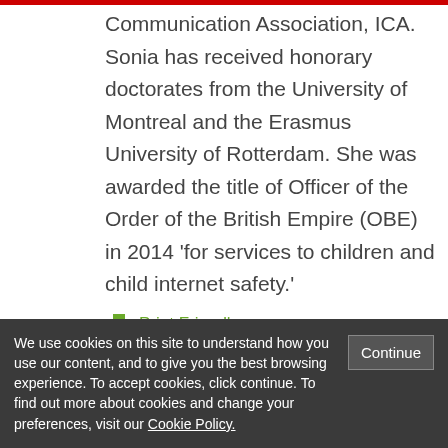Communication Association, ICA. Sonia has received honorary doctorates from the University of Montreal and the Erasmus University of Rotterdam. She was awarded the title of Officer of the Order of the British Empire (OBE) in 2014 ‘for services to children and child internet safety.’
Print Friendly
We use cookies on this site to understand how you use our content, and to give you the best browsing experience. To accept cookies, click continue. To find out more about cookies and change your preferences, visit our Cookie Policy.